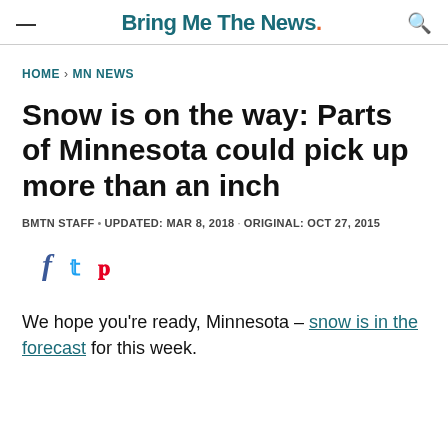Bring Me The News
HOME > MN NEWS
Snow is on the way: Parts of Minnesota could pick up more than an inch
BMTN STAFF • UPDATED: MAR 8, 2018 · ORIGINAL: OCT 27, 2015
[Figure (other): Social sharing icons: Facebook, Twitter, Pinterest]
We hope you're ready, Minnesota – snow is in the forecast for this week.